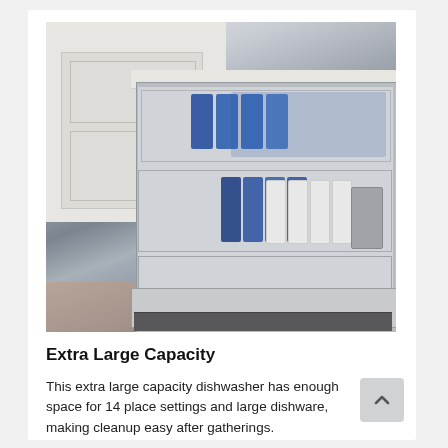[Figure (photo): An open dishwasher fully loaded with blue and white plates, glasses, and cutlery across three racks, installed under a white kitchen counter with white cabinet doors visible in the background.]
Extra Large Capacity
This extra large capacity dishwasher has enough space for 14 place settings and large dishware, making cleanup easy after gatherings.